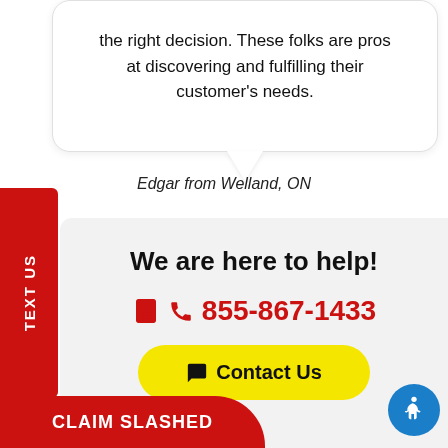the right decision. These folks are pros at discovering and fulfilling their customer's needs.
Edgar from Welland, ON
TEXT US
We are here to help!
855-867-1433
Contact Us
CLAIM SLASHED